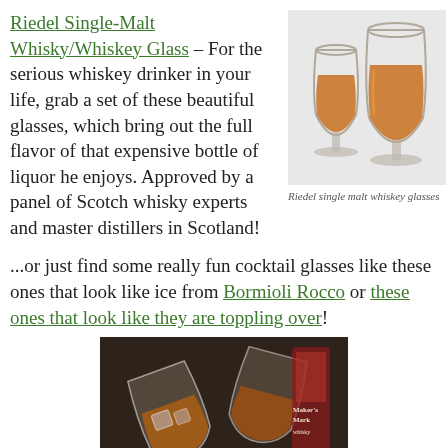Riedel Single-Malt Whisky/Whiskey Glass – For the serious whiskey drinker in your life, grab a set of these beautiful glasses, which bring out the full flavor of that expensive bottle of liquor he enjoys. Approved by a panel of Scotch whisky experts and master distillers in Scotland!
[Figure (photo): Two Riedel single malt whiskey glasses filled with amber whiskey, photographed on a light background]
Riedel single malt whiskey glasses
...or just find some really fun cocktail glasses like these ones that look like ice from Bormioli Rocco or these ones that look like they are toppling over!
[Figure (photo): Two tilted cocktail glasses with whiskey and ice, with a Maker's Mark bottle visible in the background]